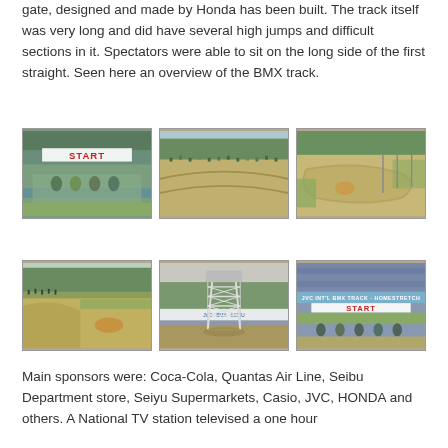gate, designed and made by Honda has been built. The track itself was very long and did have several high jumps and difficult sections in it. Spectators were able to sit on the long side of the first straight. Seen here an overview of the BMX track.
[Figure (photo): BMX race start gate with riders lined up, red START banner overhead, green track surface visible]
[Figure (photo): Aerial/overview shot of BMX track with crowd of spectators]
[Figure (photo): Aerial view of BMX track showing track layout with banked turns]
[Figure (photo): Side view of BMX track with spectators]
[Figure (photo): Camera/timing tower structure at BMX track]
[Figure (photo): BMX track homestretch banner and start gate with riders, JVC BMX Track Homestretch sign visible]
Main sponsors were: Coca-Cola, Quantas Air Line, Seibu Department store, Seiyu Supermarkets, Casio, JVC, HONDA and others. A National TV station televised a one hour